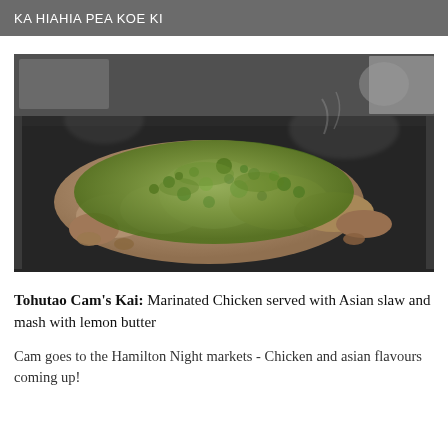KA HIAHIA PEA KOE KI
[Figure (photo): Marinated chicken pieces cooking on a flat black griddle pan, covered with a green herb and spice marinade, shot from above at an angle with steam visible.]
Tohutao Cam's Kai: Marinated Chicken served with Asian slaw and mash with lemon butter
Cam goes to the Hamilton Night markets - Chicken and asian flavours coming up!